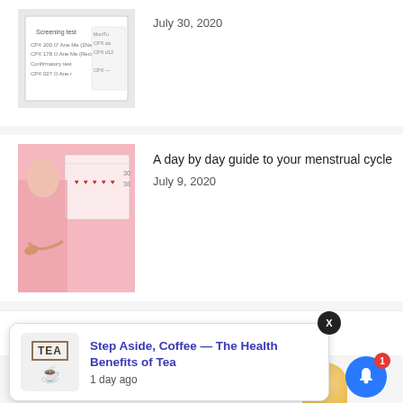[Figure (photo): Medical document / screening test paper visible]
July 30, 2020
[Figure (photo): Woman in pink skirt holding her abdomen with a calendar showing marked days in background on pink]
A day by day guide to your menstrual cycle
July 9, 2020
LATEST ARTICLES
[Figure (photo): Tea-themed notification popup with TEA label and cup icon, showing article: Step Aside, Coffee — The Health Benefits of Tea, 1 day ago]
Step Aside, Coffee — The Health Benefits of Tea
1 day ago